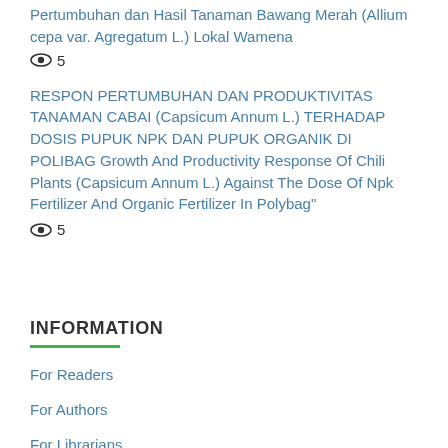Pertumbuhan dan Hasil Tanaman Bawang Merah (Allium cepa var. Agregatum L.) Lokal Wamena
👁 5
RESPON PERTUMBUHAN DAN PRODUKTIVITAS TANAMAN CABAI (Capsicum Annum L.) TERHADAP DOSIS PUPUK NPK DAN PUPUK ORGANIK DI POLIBAG Growth And Productivity Response Of Chili Plants (Capsicum Annum L.) Against The Dose Of Npk Fertilizer And Organic Fertilizer In Polybag"
👁 5
INFORMATION
For Readers
For Authors
For Librarians